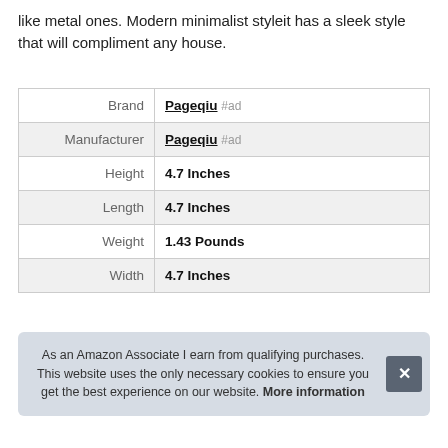like metal ones. Modern minimalist styleit has a sleek style that will compliment any house.
| Brand | Pageqiu #ad |
| Manufacturer | Pageqiu #ad |
| Height | 4.7 Inches |
| Length | 4.7 Inches |
| Weight | 1.43 Pounds |
| Width | 4.7 Inches |
As an Amazon Associate I earn from qualifying purchases. This website uses the only necessary cookies to ensure you get the best experience on our website. More information